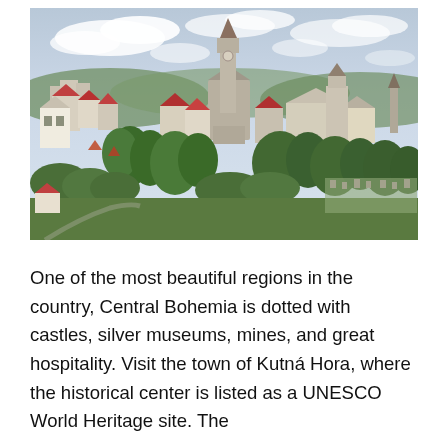[Figure (photo): Aerial panoramic view of Kutná Hora, Czech Republic, showing the historic city with Gothic church tower, red-roofed buildings, and lush green trees under a partly cloudy sky.]
One of the most beautiful regions in the country, Central Bohemia is dotted with castles, silver museums, mines, and great hospitality. Visit the town of Kutná Hora, where the historical center is listed as a UNESCO World Heritage site. The